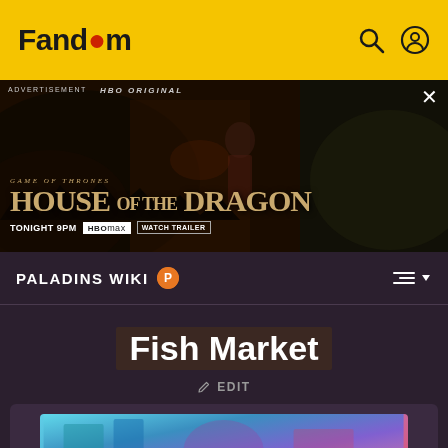Fandom
[Figure (screenshot): HBO Original advertisement for House of the Dragon - Tonight 9PM on HBO Max, Watch Trailer button]
PALADINS WIKI
Fish Market
EDIT
[Figure (screenshot): Fish Market article image placeholder with blue/purple/pink colorful background]